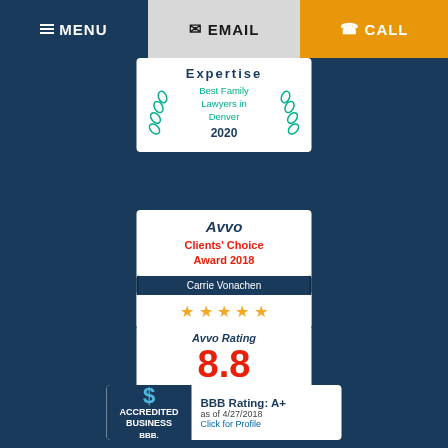≡ MENU  ✉ EMAIL  ☎ CALL
[Figure (logo): Expertise badge - Best Family Lawyers in Denver 2020 with green laurel wreath]
[Figure (logo): Avvo Clients Choice Award 2018 badge with 5 stars, awarded to Carrie Vonachen]
[Figure (logo): Avvo Rating 8.8 badge for Rodger Cleveland Daley, Top Attorney]
[Figure (logo): BBB Accredited Business badge with BBB Rating: A+ as of 4/27/2018, Click for Profile]